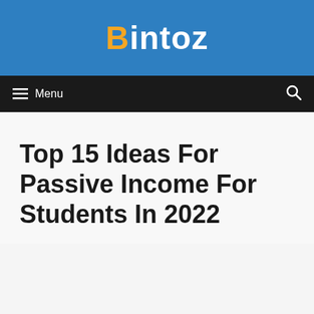Bintoz
Menu
Top 15 Ideas For Passive Income For Students In 2022